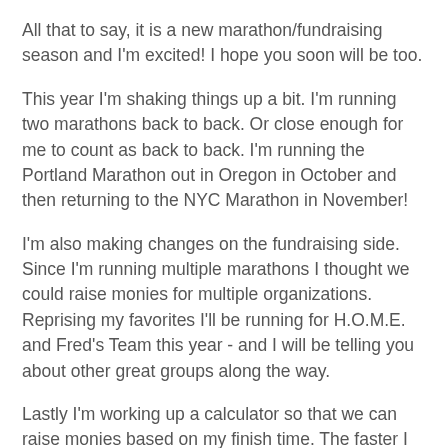All that to say, it is a new marathon/fundraising season and I'm excited! I hope you soon will be too.
This year I'm shaking things up a bit. I'm running two marathons back to back. Or close enough for me to count as back to back. I'm running the Portland Marathon out in Oregon in October and then returning to the NYC Marathon in November!
I'm also making changes on the fundraising side. Since I'm running multiple marathons I thought we could raise monies for multiple organizations. Reprising my favorites I'll be running for H.O.M.E. and Fred's Team this year - and I will be telling you about other great groups along the way.
Lastly I'm working up a calculator so that we can raise monies based on my finish time. The faster I run the more you give! Sounds like the perfect motivation to keep me logging the required miles. There will even be an optional bonus multiplier if I crack the mythical 3hrs and 52 minutes target I've been hunting down. I'll keep you up-to-date with